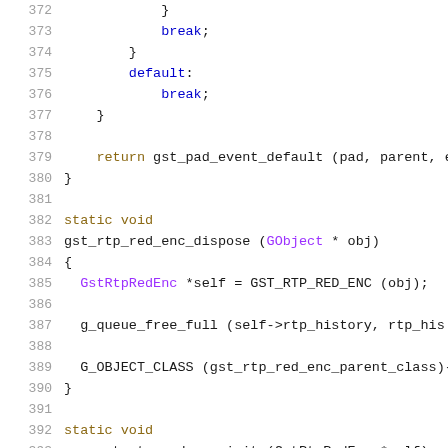[Figure (screenshot): Source code listing lines 372-393 of a C file showing GStreamer RTP RED encoder functions including gst_rtp_red_enc_dispose and related code]